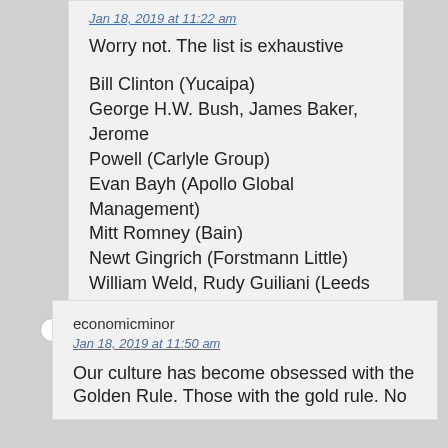Jan 18, 2019 at 11:22 am
Worry not. The list is exhaustive
Bill Clinton (Yucaipa)
George H.W. Bush, James Baker, Jerome Powell (Carlyle Group)
Evan Bayh (Apollo Global Management)
Mitt Romney (Bain)
Newt Gingrich (Forstmann Little)
William Weld, Rudy Guiliani (Leeds Weld)
Dan Quayle (Cerebrus)
economicminor
Jan 18, 2019 at 11:50 am
Our culture has become obsessed with the Golden Rule. Those with the gold rule. No